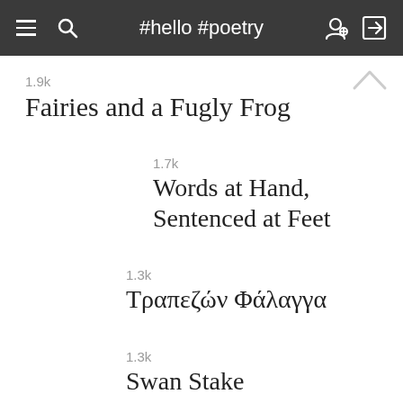#hello #poetry
1.9k
Fairies and a Fugly Frog
1.7k
Words at Hand, Sentenced at Feet
1.3k
Τραπεζών Φάλαγγα
1.3k
Swan Stake